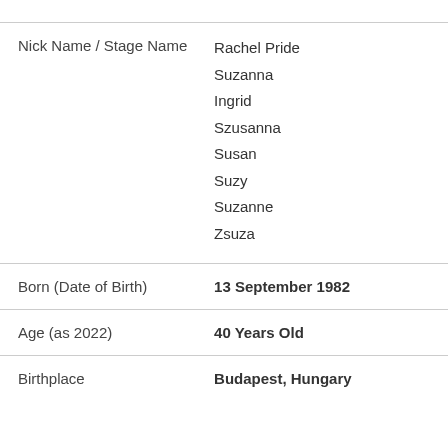| Field | Value |
| --- | --- |
| Nick Name / Stage Name | Rachel Pride
Suzanna
Ingrid
Szusanna
Susan
Suzy
Suzanne
Zsuza |
| Born (Date of Birth) | 13 September 1982 |
| Age (as 2022) | 40 Years Old |
| Birthplace | Budapest, Hungary |